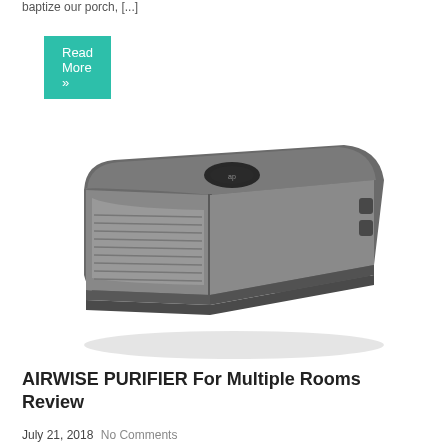baptize our porch, [...]
Read More »
[Figure (photo): An air purifier device in dark gray/charcoal color, rectangular box shape with rounded front corners, ribbed front panel, small oval logo on top center, and side vents on the right side.]
AIRWISE PURIFIER For Multiple Rooms Review
July 21, 2018 No Comments